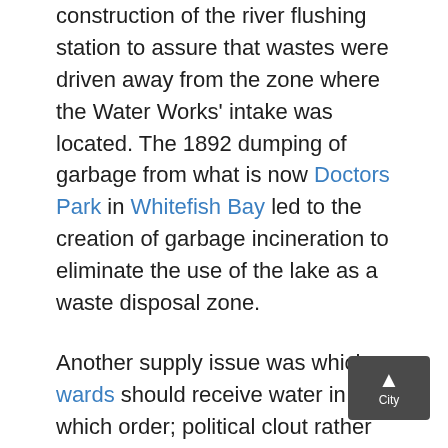construction of the river flushing station to assure that wastes were driven away from the zone where the Water Works' intake was located. The 1892 dumping of garbage from what is now Doctors Park in Whitefish Bay led to the creation of garbage incineration to eliminate the use of the lake as a waste disposal zone.
Another supply issue was which wards should receive water in which order; political clout rather than population ended up being the determining factor. Despite high population density and overcrowding, South Side immigrant wards were denied service, even when supply was readily available. The profit-minded focus of the Water Works instead led to the sale of water in wholesale quantities (thus eliminating the need for the expense of constructing distribution mains and pipes) to businesses and other municipalities outside the city boundaries. Profits were not returned to the Water Works but to the city's general fund, preventing tax